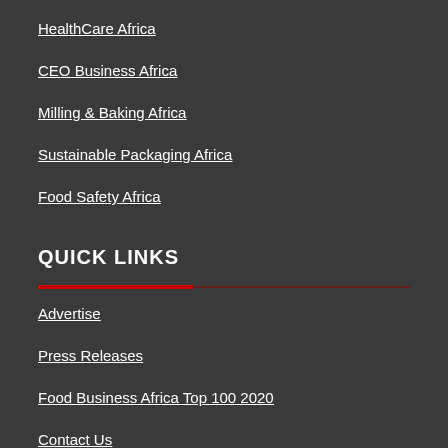HealthCare Africa
CEO Business Africa
Milling & Baking Africa
Sustainable Packaging Africa
Food Safety Africa
QUICK LINKS
Advertise
Press Releases
Food Business Africa Top 100 2020
Contact Us